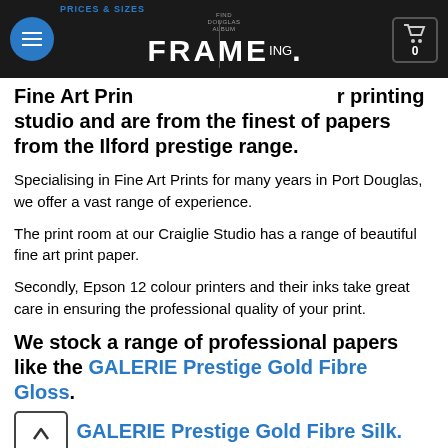PRICES & SIZES | FRAMING. (header navigation)
Fine Art Prints are produced at our printing studio and are from the finest of papers from the Ilford prestige range.
Specialising in Fine Art Prints for many years in Port Douglas, we offer a vast range of experience.
The print room at our Craiglie Studio has a range of beautiful fine art print paper.
Secondly, Epson 12 colour printers and their inks take great care in ensuring the professional quality of your print.
We stock a range of professional papers like the GALERIE Prestige Gold Fibre Gloss.
GALERIE Prestige Gold Fibre Silk.
One of the most beautiful fine art papers on the market